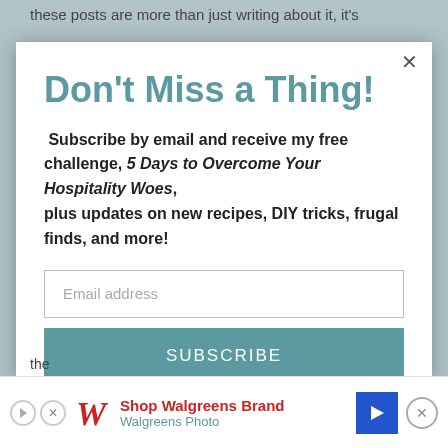these posts are more than just writing about it, it's
Don't Miss a Thing!
Subscribe by email and receive my free challenge, 5 Days to Overcome Your Hospitality Woes, plus updates on new recipes, DIY tricks, frugal finds, and more!
[Figure (screenshot): Email address input field]
[Figure (screenshot): SUBSCRIBE button in teal/slate color]
[Figure (screenshot): Advertisement bar: Shop Walgreens Brand / Walgreens Photo with logo and arrow icon]